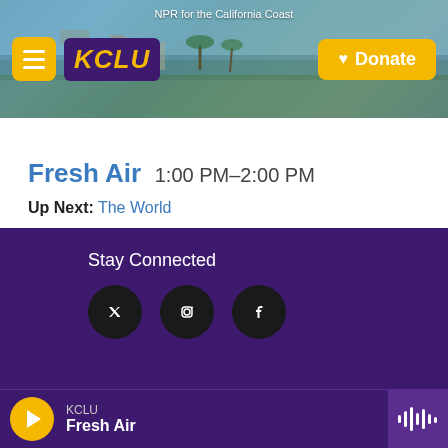[Figure (screenshot): KCLU radio station website header banner with coastal city background image, hamburger menu button, KCLU logo, NPR for the California Coast tagline, and yellow Donate button]
Fresh Air 1:00 PM–2:00 PM
Up Next: The World
Stay Connected
[Figure (screenshot): Social media icons row: three circular dark icons]
KCLU Fresh Air (player bar with play button and waveform icon)